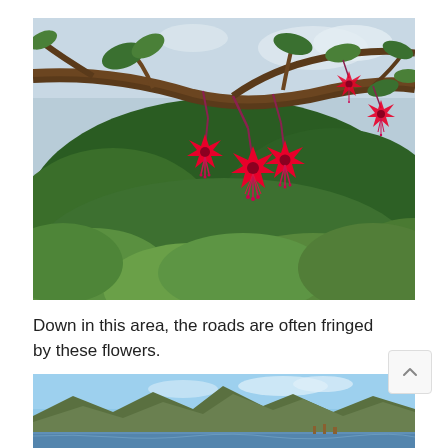[Figure (photo): Close-up photograph of bright red fuchsia flowers hanging from tree branches with green foliage and a light sky in the background.]
Down in this area, the roads are often fringed by these flowers.
[Figure (photo): Photograph of a mountain landscape with rolling hills, a blue sky, and what appears to be a lake or water body in the foreground.]